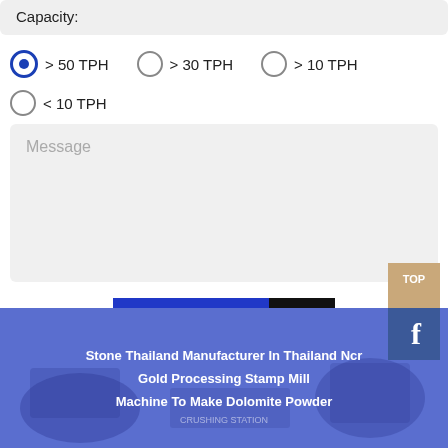Capacity:
> 50 TPH (selected)
> 30 TPH
> 10 TPH
< 10 TPH
Message
SUBMIT
Stone Thailand Manufacturer In Thailand Ncr
Gold Processing Stamp Mill
Machine To Make Dolomite Powder